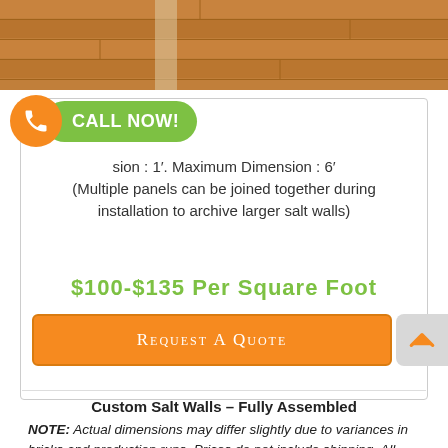[Figure (photo): Close-up of wooden laminate flooring planks from above]
[Figure (infographic): Orange phone circle button with green CALL NOW! pill label]
sion : 1′. Maximum Dimension : 6′ (Multiple panels can be joined together during installation to archive larger salt walls)
$100-$135 Per Square Foot
REQUEST A QUOTE
Custom Salt Walls – Fully Assembled
NOTE: Actual dimensions may differ slightly due to variances in bricks and production runs. Prices do not include shipping. All panels are hand-assembled in the